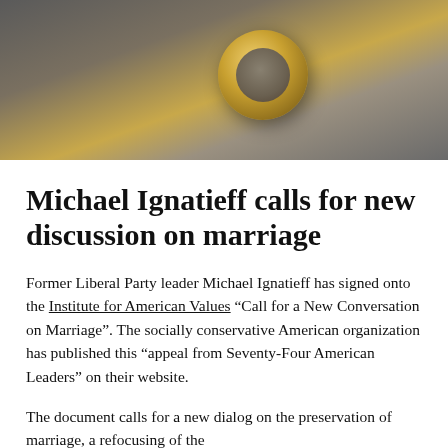[Figure (photo): Close-up photo of gold wedding rings on a dark textured surface with soft lighting]
Michael Ignatieff calls for new discussion on marriage
Former Liberal Party leader Michael Ignatieff has signed onto the Institute for American Values “Call for a New Conversation on Marriage”. The socially conservative American organization has published this “appeal from Seventy-Four American Leaders” on their website.
The document calls for a new dialog on the preservation of marriage, a refocusing of the